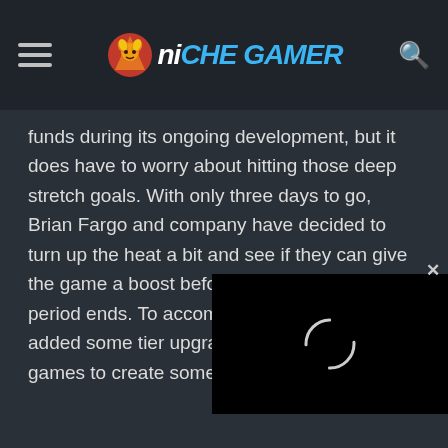Niche Gamer
funds during its ongoing development, but it does have to worry about hitting those deep stretch goals. With only three days to go, Brian Fargo and company have decided to turn up the heat a bit and see if they can give the game a boost before the official funding period ends. To accomplish this, inXile has added some tier upgrades, stretch go... free games to create some inc... donors.
[Figure (screenshot): Video player loading spinner overlay with black background and circular spinner icon, with an X close button in upper right]